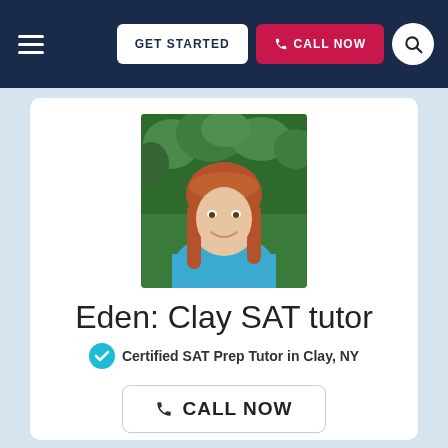GET STARTED | CALL NOW
[Figure (photo): Portrait photo of Eden, a young woman with long red hair wearing a light blue top, smiling, with green trees in the background.]
Eden: Clay SAT tutor
Certified SAT Prep Tutor in Clay, NY
CALL NOW